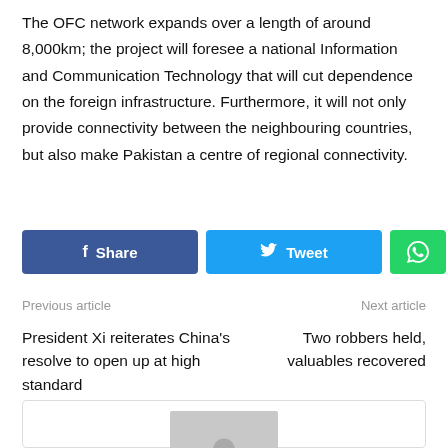The OFC network expands over a length of around 8,000km; the project will foresee a national Information and Communication Technology that will cut dependence on the foreign infrastructure. Furthermore, it will not only provide connectivity between the neighbouring countries, but also make Pakistan a centre of regional connectivity.
[Figure (other): Social sharing buttons: Facebook Share, Twitter Tweet, WhatsApp, WeChat]
Previous article
Next article
President Xi reiterates China's resolve to open up at high standard
Two robbers held, valuables recovered
[Figure (photo): Profile image placeholder with grey background and person silhouette icon]